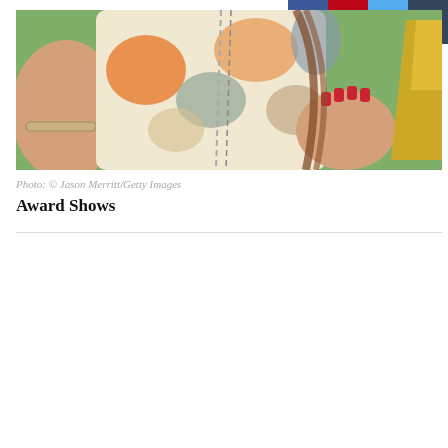SHARE
[Figure (photo): Close-up photo of a person wearing a colorful floral/abstract print top with a chain necklace, showing hands with red nail polish and a silver bracelet, against a green background with a gold element on the right side.]
Photo: © Jason Merritt/Getty Images
Award Shows